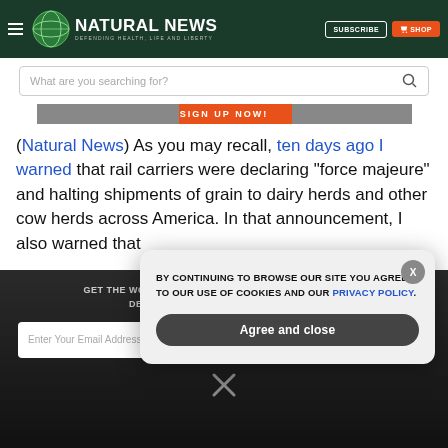NATURAL NEWS — DEFENDING HEALTH, LIFE AND LIBERTY
What are you searching for?
[Figure (screenshot): Orange and gray banner strip with text SIGN UP NOW!]
(Natural News) As you may recall, ten days ago I warned that rail carriers were declaring “force majeure” and halting shipments of grain to dairy herds and other cow herds across America. In that announcement, I also warned that
GET THE WORLD'S BEST NATURAL HEALTH NEWSLETTER DELIVERED STRAIGHT TO YOUR INBOX
BY CONTINUING TO BROWSE OUR SITE YOU AGREE TO OUR USE OF COOKIES AND OUR PRIVACY POLICY.
Agree and close